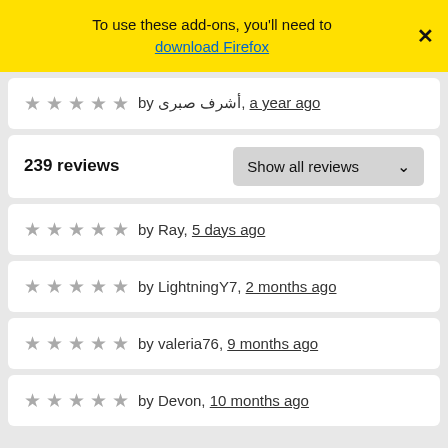To use these add-ons, you'll need to download Firefox
★★★★★ by أشرف صبرى, a year ago
239 reviews | Show all reviews
★★★★★ by Ray, 5 days ago
★★★★★ by LightningY7, 2 months ago
★★★★★ by valeria76, 9 months ago
★★★★★ by Devon, 10 months ago